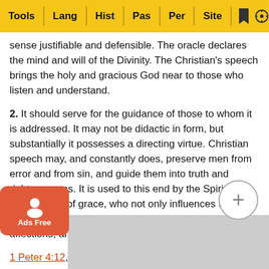Tools | Lang | Hist | Pas | Per | Site
sense justifiable and defensible. The oracle declares the mind and will of the Divinity. The Christian's speech brings the holy and gracious God near to those who listen and understand.
2. It should serve for the guidance of those to whom it is addressed. It may not be didactic in form, but substantially it possesses a directing virtue. Christian speech may, and constantly does, preserve men from error and from sin, and guide them into truth and righteousness. It is used to this end by the Spirit of wisdom and of grace, who not only influences the mind and heart of him who speaks, but also the conscience, affections, and will of those who hear - J.R.T.
1 Peter 4:12, 1 Peter 4:13 - Trials.
word "trials" is one which is often upon the lips of perso... mean... equiv... e